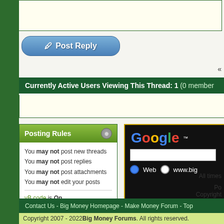[Figure (screenshot): Text area input box at top of forum reply page]
[Figure (screenshot): Post Reply button with pencil icon]
«
Currently Active Users Viewing This Thread: 1 (0 member
Posting Rules
You may not post new threads
You may not post replies
You may not post attachments
You may not edit your posts
vB code is On
Smilies are On
[IMG] code is On
HTML code is Off
[Figure (screenshot): Google search widget with Web and www.big radio buttons on dark background]
Forum Jump
The Workplace - Job
All times
Po
Copyright
Contact Us - Big Money Homepage - Make Money Forum - Top
Copyright 2007 - 2022 Big Money Forums. All rights reserved.